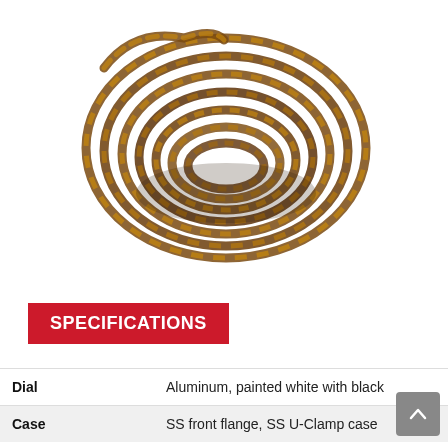[Figure (photo): A coiled braided rope or cord with brown/golden and black colors, wound into a circular bundle, photographed on a white background.]
SPECIFICATIONS
|  |  |
| --- | --- |
| Dial | Aluminum, painted white with black |
| Case | SS front flange, SS U-Clamp case |